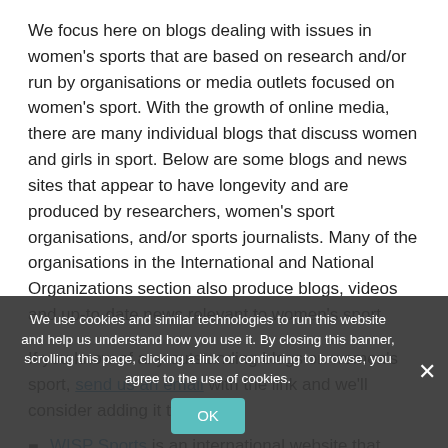We focus here on blogs dealing with issues in women's sports that are based on research and/or run by organisations or media outlets focused on women's sport. With the growth of online media, there are many individual blogs that discuss women and girls in sport. Below are some blogs and news sites that appear to have longevity and are produced by researchers, women's sport organisations, and/or sports journalists. Many of the organisations in the International and National Organizations section also produce blogs, videos and up-to-date news relevant to women's sport.
If you know of any outstanding blogs on women's sport, send us an email with the link and we'll consider adding it to the list.
WISP Sports is an international website that produces articles, video, blogs and podcasts that tell the stories of sportswomen with integrity and respect while promoting gender equality, diversity, fairness and access. The producers of content are a mix of former elite women athletes and sports journalists.
Australian sport is covered well by journalist Sam Squiers' Sportette blog.
The Muslim Women in Sports Blog, written by Sertaç Sehlikoglu, has been going since 2008 and provides insight into the
We use cookies and similar technologies to run this website and help us understand how you use it. By closing this banner, scrolling this page, clicking a link or continuing to browse, you agree to the use of cookies.